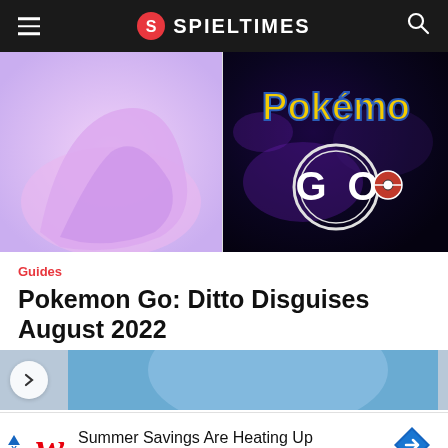SPIELTIMES
[Figure (photo): Left: pink/purple abstract Ditto blob shape on lavender background. Right: Pokemon GO logo on dark purple galaxy background with yellow Pokemon text and GO ring logo.]
Guides
Pokemon Go: Ditto Disguises August 2022
[Figure (photo): Partial game artwork thumbnail showing a character in a sky scene, with a chevron/back button on the left.]
[Figure (infographic): Walgreens advertisement: Summer Savings Are Heating Up - Walgreens Photo, with Walgreens cursive W logo and blue direction arrow icon.]